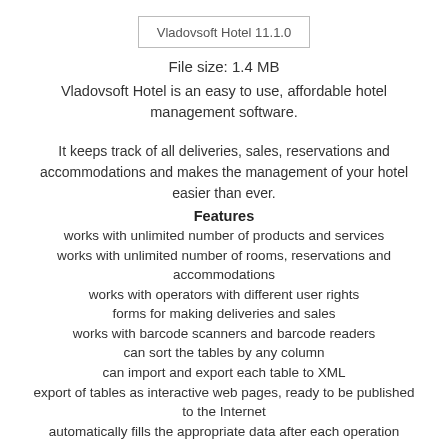[Figure (logo): Vladovsoft Hotel 11.1.0 logo image placeholder]
File size: 1.4 MB
Vladovsoft Hotel is an easy to use, affordable hotel management software.
It keeps track of all deliveries, sales, reservations and accommodations and makes the management of your hotel easier than ever.
Features
works with unlimited number of products and services
works with unlimited number of rooms, reservations and accommodations
works with operators with different user rights
forms for making deliveries and sales
works with barcode scanners and barcode readers
can sort the tables by any column
can import and export each table to XML
export of tables as interactive web pages, ready to be published to the Internet
automatically fills the appropriate data after each operation